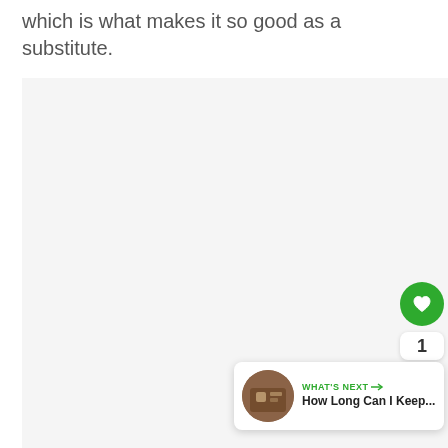which is what makes it so good as a substitute.
[Figure (photo): Large light grey image placeholder area]
[Figure (other): UI overlay with like button (heart icon, green circle), like count of 1, and share button (green circle with share icon)]
[Figure (other): What's Next card showing a thumbnail photo and text 'WHAT'S NEXT → How Long Can I Keep...']